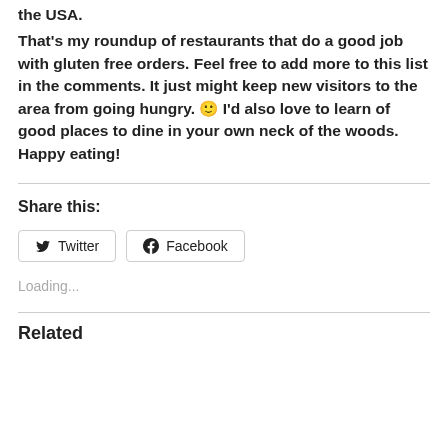the USA.
That’s my roundup of restaurants that do a good job with gluten free orders. Feel free to add more to this list in the comments. It just might keep new visitors to the area from going hungry. 🙂 I’d also love to learn of good places to dine in your own neck of the woods. Happy eating!
Share this:
[Figure (other): Twitter and Facebook share buttons]
Loading...
Related